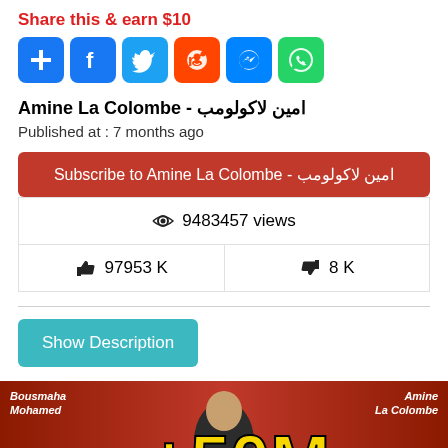Share this & earn $10
[Figure (infographic): Social share icons: Plus, Facebook, Twitter, Reddit, Messenger, WhatsApp]
Amine La Colombe - امين لاكولومب
Published at : 7 months ago
Subscribe to Amine La Colombe - امين لاكولومب
👁 9483457 views
👍 97953 K   👎 8 K
Show Description
[Figure (screenshot): Video thumbnail showing '50M' text with Bousmaha Mohamed and Amine La Colombe labels]